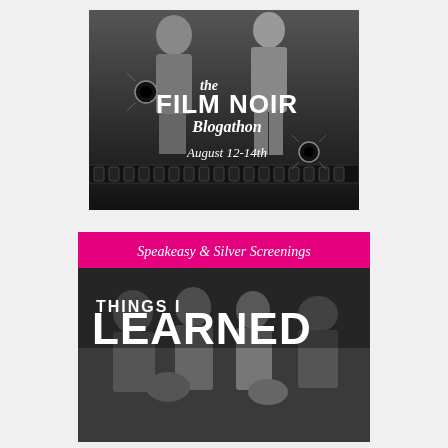[Figure (illustration): Film Noir Blogathon poster: black and white image of two figures (man and woman), bullet holes, film strip, text reading THE FILM NOIR BLOGATHON August 12-14th]
[Figure (illustration): Speakeasy & Silver Screenings promotional image: pink banner at top with text 'Speakeasy & Silver Screenings', below shows black and white photo of people grouped together with text overlay 'THINGS I LEARNED']